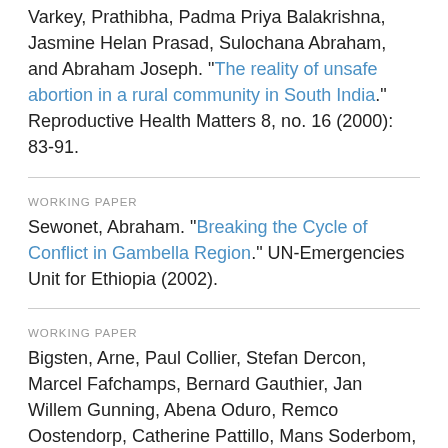Varkey, Prathibha, Padma Priya Balakrishna, Jasmine Helan Prasad, Sulochana Abraham, and Abraham Joseph. "The reality of unsafe abortion in a rural community in South India." Reproductive Health Matters 8, no. 16 (2000): 83-91.
WORKING PAPER
Sewonet, Abraham. "Breaking the Cycle of Conflict in Gambella Region." UN-Emergencies Unit for Ethiopia (2002).
WORKING PAPER
Bigsten, Arne, Paul Collier, Stefan Dercon, Marcel Fafchamps, Bernard Gauthier, Jan Willem Gunning, Abena Oduro, Remco Oostendorp, Catherine Pattillo, Mans Soderbom, Francis Teal, and Albert Zeufack. "Pool Ma...